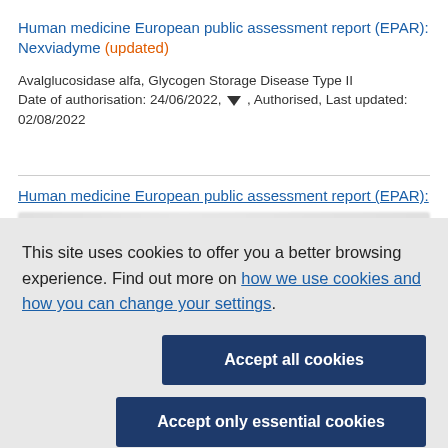Human medicine European public assessment report (EPAR): Nexviadyme (updated)
Avalglucosidase alfa, Glycogen Storage Disease Type II
Date of authorisation: 24/06/2022, ▼ , Authorised, Last updated: 02/08/2022
Human medicine European public assessment report (EPAR):
This site uses cookies to offer you a better browsing experience. Find out more on how we use cookies and how you can change your settings.
Accept all cookies
Accept only essential cookies